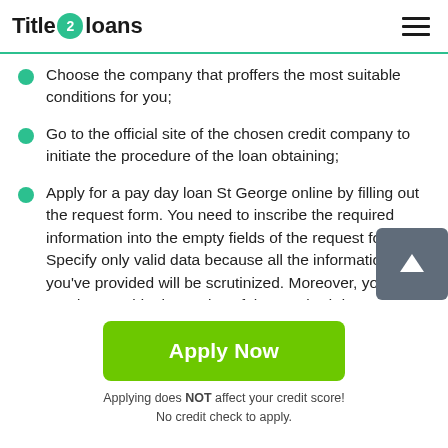Title 2 loans
Choose the company that proffers the most suitable conditions for you;
Go to the official site of the chosen credit company to initiate the procedure of the loan obtaining;
Apply for a pay day loan St George online by filling out the request form. You need to inscribe the required information into the empty fields of the request form. Specify only valid data because all the information you've provided will be scrutinized. Moreover, you will need to provide the copies of the required documents.
[Figure (other): Scroll-to-top arrow button (dark grey rounded square with upward arrow icon)]
Apply Now
Applying does NOT affect your credit score! No credit check to apply.